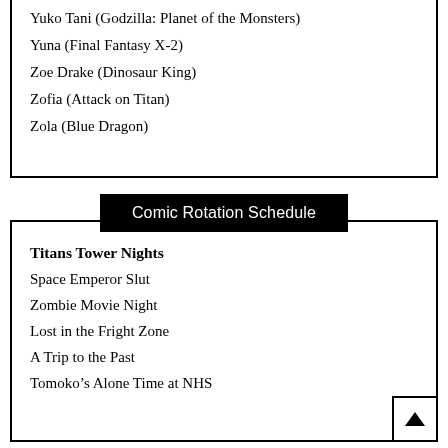Yuko Tani (Godzilla: Planet of the Monsters)
Yuna (Final Fantasy X-2)
Zoe Drake (Dinosaur King)
Zofia (Attack on Titan)
Zola (Blue Dragon)
Comic Rotation Schedule
Titans Tower Nights
Space Emperor Slut
Zombie Movie Night
Lost in the Fright Zone
A Trip to the Past
Tomoko’s Alone Time at NHS